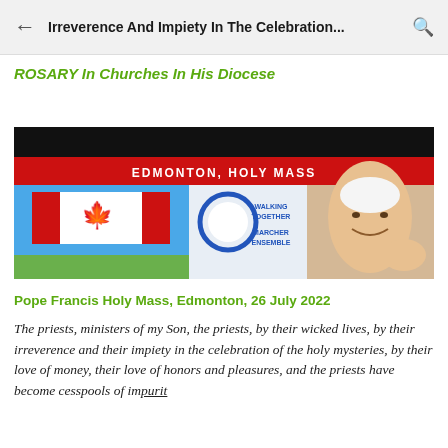Irreverence And Impiety In The Celebration...
ROSARY In Churches In His Diocese
[Figure (photo): Banner image for Edmonton Holy Mass event featuring Canadian flag, Walking Together / Marcher Ensemble logo, and Pope Francis. Black bar at top, red bar with text EDMONTON, HOLY MASS.]
Pope Francis Holy Mass, Edmonton, 26 July 2022
The priests, ministers of my Son, the priests, by their wicked lives, by their irreverence and their impiety in the celebration of the holy mysteries, by their love of money, their love of honors and pleasures, and the priests have become cesspools of impurity.